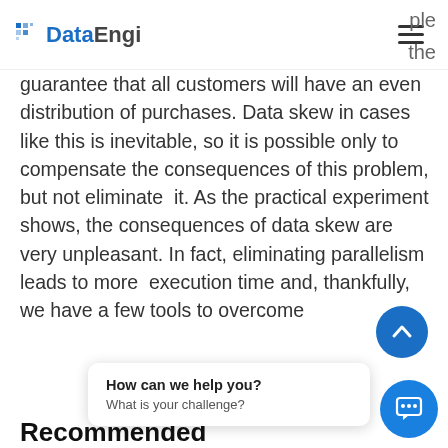DataEngi
ple the guarantee that all customers will have an even distribution of purchases. Data skew in cases like this is inevitable, so it is possible only to compensate the consequences of this problem, but not eliminate it. As the practical experiment shows, the consequences of data skew are very unpleasant. In fact, eliminating parallelism leads to more execution time and, thankfully, we have a few tools to overcome
Recommended